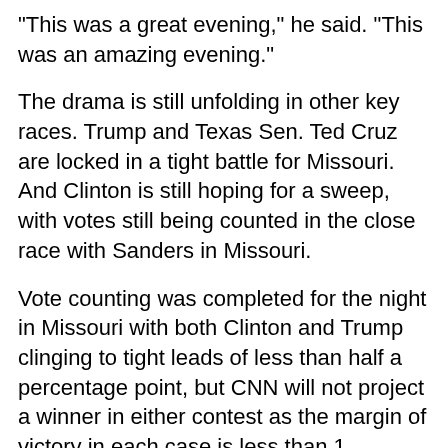"This was a great evening," he said. "This was an amazing evening."
The drama is still unfolding in other key races. Trump and Texas Sen. Ted Cruz are locked in a tight battle for Missouri. And Clinton is still hoping for a sweep, with votes still being counted in the close race with Sanders in Missouri.
Vote counting was completed for the night in Missouri with both Clinton and Trump clinging to tight leads of less than half a percentage point, but CNN will not project a winner in either contest as the margin of victory in each case is less than 1 percentage point.
Trump was already looking forward to the general election as he urged party unity amid growing speculation about the potential for a convention fight.
"We have to bring our party together," he said. "We